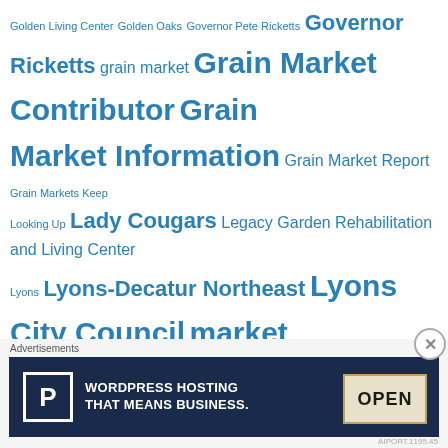Golden Living Center Golden Oaks Governor Pete Ricketts Governor Ricketts grain market Grain Market Contributor Grain Market Information Grain Market Report Grain Markets Keep Looking Up Lady Cougars Legacy Garden Rehabilitation and Living Center Lyons Lyons-Decatur Northeast Lyons City Council market report Meals on Wheels Meals on Wheels program Meeting Agenda Minnick Funeral Home Moser Memorial Chapel Munderloh-Smith Funeral Home National Weather Service Nebraska Nebraska Game and Parks Nebraska Game and Parks Commission Oakland Oakland-Craig Oakland City Council Oakland city office
[Figure (other): Advertisement banner for WordPress Hosting with a P logo icon and an OPEN sign image. Text reads: WORDPRESS HOSTING THAT MEANS BUSINESS.]